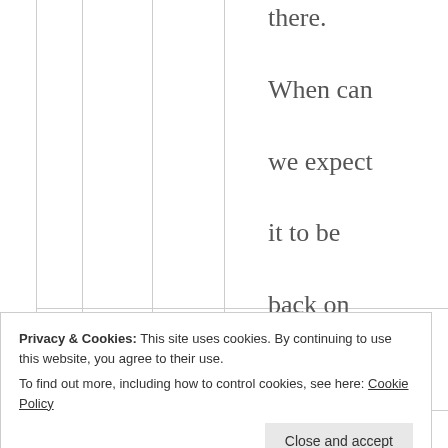there. When can we expect it to be back on our local shelves? Thankfully I'm not a headachy-
Privacy & Cookies: This site uses cookies. By continuing to use this website, you agree to their use. To find out more, including how to control cookies, see here: Cookie Policy
Close and accept
one, I